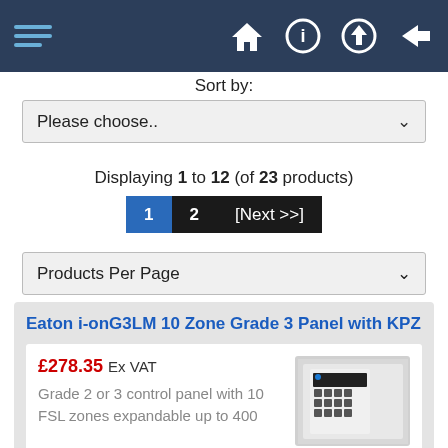[Figure (screenshot): Navigation bar with hamburger menu icon, home, info, upload, and login icons on dark blue background]
Sort by:
[Figure (other): Sort by dropdown selector showing 'Please choose..']
Displaying 1 to 12 (of 23 products)
[Figure (other): Pagination buttons: 1 (active, blue), 2 (black), [Next >>] (black)]
[Figure (other): Products Per Page dropdown selector]
Eaton i-onG3LM 10 Zone Grade 3 Panel with KPZ
£278.35 Ex VAT
Grade 2 or 3 control panel with 10 FSL zones expandable up to 400